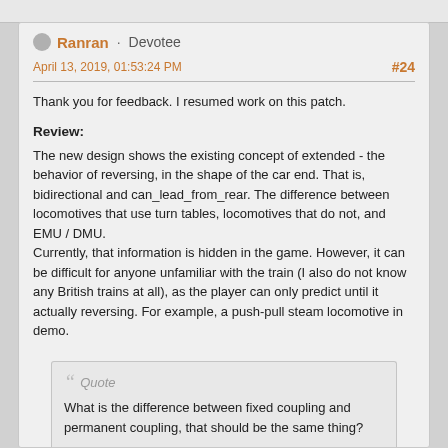Ranran · Devotee
April 13, 2019, 01:53:24 PM  #24
Thank you for feedback. I resumed work on this patch.
Review:
The new design shows the existing concept of extended - the behavior of reversing, in the shape of the car end. That is, bidirectional and can_lead_from_rear. The difference between locomotives that use turn tables, locomotives that do not, and EMU / DMU.
Currently, that information is hidden in the game. However, it can be difficult for anyone unfamiliar with the train (I also do not know any British trains at all), as the player can only predict until it actually reversing. For example, a push-pull steam locomotive in demo.
Quote
What is the difference between fixed coupling and permanent coupling, that should be the same thing?